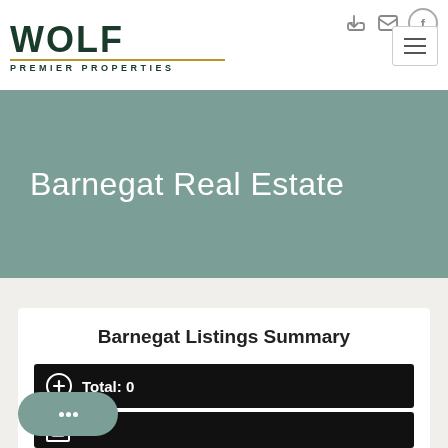[Figure (logo): Wolf Premier Properties logo — WOLF in large dark green letters, gold underline, PREMIER PROPERTIES in small spaced caps below]
Barnegat Real Estate
Barnegat Listings Summary
Total: 0